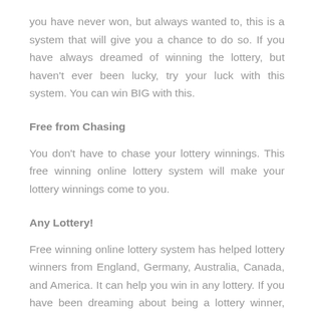you have never won, but always wanted to, this is a system that will give you a chance to do so. If you have always dreamed of winning the lottery, but haven't ever been lucky, try your luck with this system. You can win BIG with this.
Free from Chasing
You don't have to chase your lottery winnings. This free winning online lottery system will make your lottery winnings come to you.
Any Lottery!
Free winning online lottery system has helped lottery winners from England, Germany, Australia, Canada, and America. It can help you win in any lottery. If you have been dreaming about being a lottery winner, take 100 percent advantage...